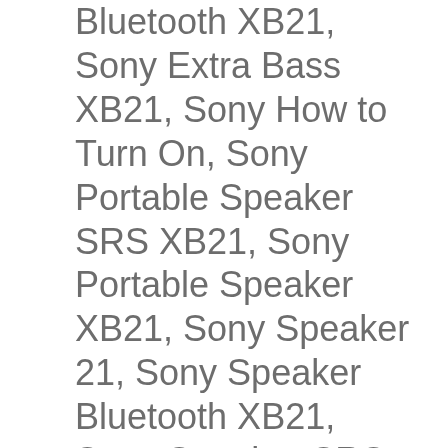Bluetooth XB21, Sony Extra Bass XB21, Sony How to Turn On, Sony Portable Speaker SRS XB21, Sony Portable Speaker XB21, Sony Speaker 21, Sony Speaker Bluetooth XB21, Sony Speaker SRS-XB21, Sony Speaker XB21, Sony SRS, Sony SRS 21 Speaker, Sony SRS X21, Sony SRS XB 21, Sony SRS XB21, Sony SRS XB21 Extra Bass, Sony SRS XB21 How to Turn On, Sony SRS XB21